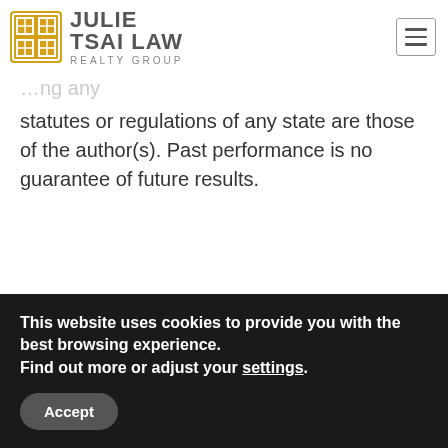Julie Tsai Law Realty Group
statutes or regulations of any state are those of the author(s). Past performance is no guarantee of future results.
Posted in Market Trends, San Mateo County Market TrendsTagged Bay Area, Bay Area Real Estate, Home Buyers, Home Sellers, Investors, Market Update, October 2021, San Mateo County, San Mateo County Real Estate, Silicon Valley, Silicon Valley Home Sellers, Silicon Valley Real Estate…
This website uses cookies to provide you with the best browsing experience. Find out more or adjust your settings.